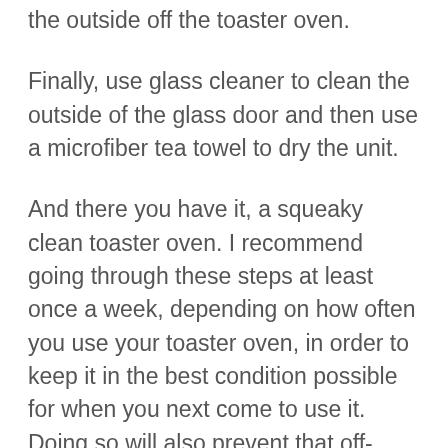the outside off the toaster oven.
Finally, use glass cleaner to clean the outside of the glass door and then use a microfiber tea towel to dry the unit.
And there you have it, a squeaky clean toaster oven. I recommend going through these steps at least once a week, depending on how often you use your toaster oven, in order to keep it in the best condition possible for when you next come to use it. Doing so will also prevent that off-putting burning smell when plugged in as you will have cleaned away the grease and crumbs so they will not continue heating up and burning every time you use the toaster